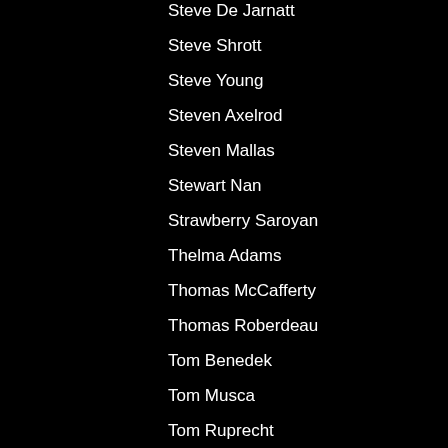Steve De Jarnatt
Steve Shrott
Steve Young
Steven Axelrod
Steven Mallas
Stewart Nan
Strawberry Saroyan
Thelma Adams
Thomas McCafferty
Thomas Roberdeau
Tom Benedek
Tom Musca
Tom Ruprecht
Tom Teicholz
Wayras Olivier